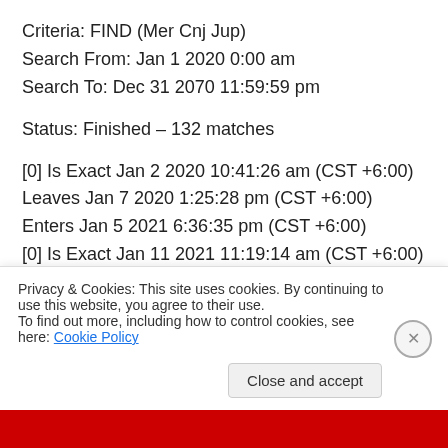Criteria: FIND (Mer Cnj Jup)
Search From: Jan 1 2020 0:00 am
Search To: Dec 31 2070 11:59:59 pm
Status: Finished – 132 matches
[0] Is Exact Jan 2 2020 10:41:26 am (CST +6:00)
Leaves Jan 7 2020 1:25:28 pm (CST +6:00)
Enters Jan 5 2021 6:36:35 pm (CST +6:00)
[0] Is Exact Jan 11 2021 11:19:14 am (CST +6:00)
Leaves Jan 16 2021 4:23:20 pm (CST +6:00)
Enters Feb 3 2021 10:23:33 am (CST +6:00) [partially visible]
Privacy & Cookies: This site uses cookies. By continuing to use this website, you agree to their use.
To find out more, including how to control cookies, see here: Cookie Policy
Close and accept